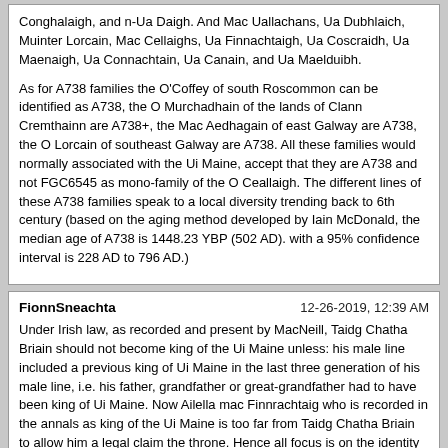Conghalaigh, and n-Ua Daigh. And Mac Uallachans, Ua Dubhlaich, Muinter Lorcain, Mac Cellaighs, Ua Finnachtaigh, Ua Coscraidh, Ua Maenaigh, Ua Connachtain, Ua Canain, and Ua Maelduibh.

As for A738 families the O'Coffey of south Roscommon can be identified as A738, the O Murchadhain of the lands of Clann Cremthainn are A738+, the Mac Aedhagain of east Galway are A738, the O Lorcain of southeast Galway are A738. All these families would normally associated with the Ui Maine, accept that they are A738 and not FGC6545 as mono-family of the O Ceallaigh. The different lines of these A738 families speak to a local diversity trending back to 6th century (based on the aging method developed by Iain McDonald, the median age of A738 is 1448.23 YBP (502 AD). with a 95% confidence interval is 228 AD to 796 AD.)
FionnSneachta
12-26-2019, 12:39 AM
Under Irish law, as recorded and present by MacNeill, Taidg Chatha Briain should not become king of the Ui Maine unless: his male line included a previous king of Ui Maine in the last three generation of his male line, i.e. his father, grandfather or great-grandfather had to have been king of Ui Maine. Now Ailella mac Finnrachtaig who is recorded in the annals as king of the Ui Maine is too far from Taidg Chatha Briain to allow him a legal claim the throne. Hence all focus is on the identity of Murchadh, those father is not identifed in the annals of Inisfallen. It is only an assumption that he can be identified with Murchadh mac Aedh, and this is what the four master did in the 17th century (much removed from the 9th century), so unless their evidence or any evidence can be presented we do not know for certain that the Murchadh who died circa 862 was Murchadh mac Aedh.
However legal rights in Ireland and elsewhere were frequently trumped by might, as can be seen in Brian Boru installation of the alien O'Neill over Cenel Eoghain.
The Ui Maine have been in Connacht since the 6th century if not earlier. Yet they are no other FGC6545+ families from Connacht (other than the O Ceallaigh). This seems very strange that there are no other Ui Maine families? Especially given the numerous families associated with the Ui Maine (shown